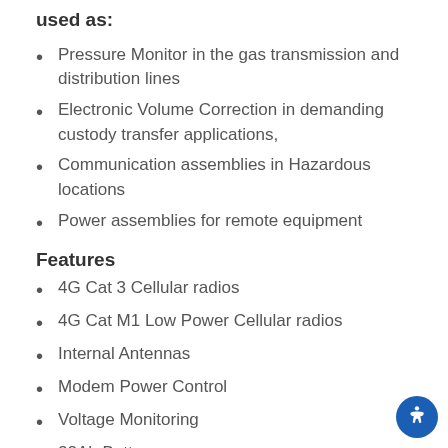used as:
Pressure Monitor in the gas transmission and distribution lines
Electronic Volume Correction in demanding custody transfer applications,
Communication assemblies in Hazardous locations
Power assemblies for remote equipment
Features
4G Cat 3 Cellular radios
4G Cat M1 Low Power Cellular radios
Internal Antennas
Modem Power Control
Voltage Monitoring
22Ah Battery
Digital Plug and Play Pressure transducer